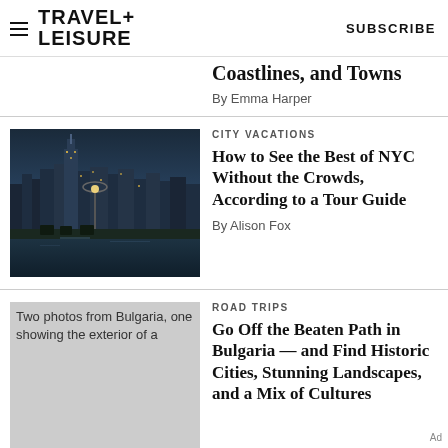TRAVEL+ LEISURE  SUBSCRIBE
Coastlines, and Towns
By Emma Harper
CITY VACATIONS
How to See the Best of NYC Without the Crowds, According to a Tour Guide
By Alison Fox
[Figure (photo): NYC skyline at dusk with city lights reflected on water, chairs in foreground]
ROAD TRIPS
Go Off the Beaten Path in Bulgaria — and Find Historic Cities, Stunning Landscapes, and a Mix of Cultures
[Figure (photo): Two photos from Bulgaria, one showing the exterior of a building]